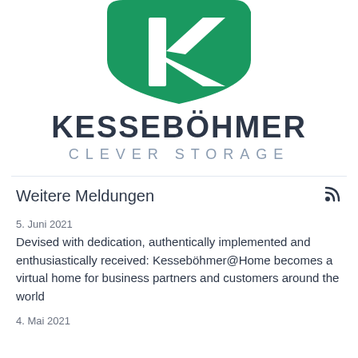[Figure (logo): Kesseböhmer Clever Storage logo — green shield shape with white K letterform inside, company name KESSEBÖHMER in dark bold text, CLEVER STORAGE in grey spaced letters below]
Weitere Meldungen
5. Juni 2021
Devised with dedication, authentically implemented and enthusiastically received: Kesseböhmer@Home becomes a virtual home for business partners and customers around the world
4. Mai 2021